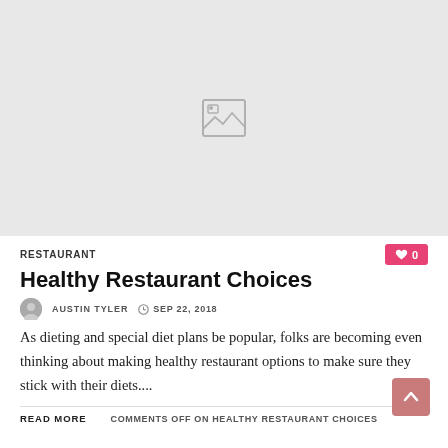[Figure (photo): Placeholder image with a grey background and a small image icon in the center]
RESTAURANT
Healthy Restaurant Choices
AUSTIN TYLER   SEP 22, 2018
As dieting and special diet plans be popular, folks are becoming even thinking about making healthy restaurant options to make sure they stick with their diets....
READ MORE   COMMENTS OFF ON HEALTHY RESTAURANT CHOICES